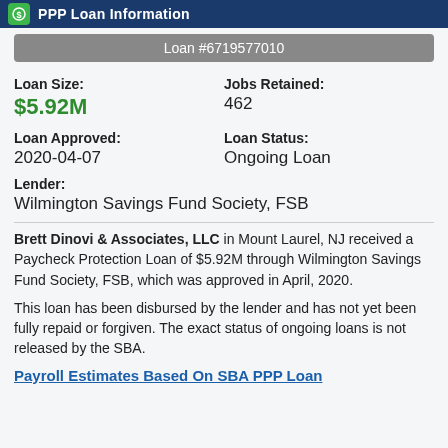PPP Loan Information
Loan #6719577010
Loan Size: $5.92M
Jobs Retained: 462
Loan Approved: 2020-04-07
Loan Status: Ongoing Loan
Lender: Wilmington Savings Fund Society, FSB
Brett Dinovi & Associates, LLC in Mount Laurel, NJ received a Paycheck Protection Loan of $5.92M through Wilmington Savings Fund Society, FSB, which was approved in April, 2020.
This loan has been disbursed by the lender and has not yet been fully repaid or forgiven. The exact status of ongoing loans is not released by the SBA.
Payroll Estimates Based On SBA PPP Loan